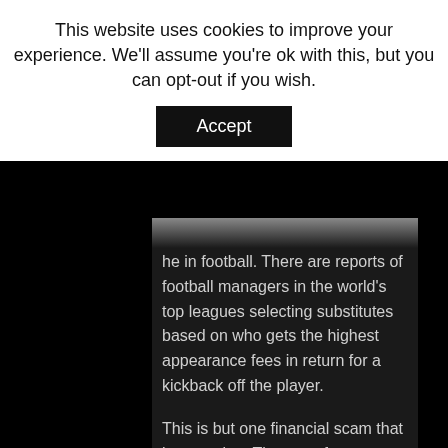This website uses cookies to improve your experience. We'll assume you're ok with this, but you can opt-out if you wish.
Accept
he in football. There are reports of football managers in the world's top leagues selecting substitutes based on who gets the highest appearance fees in return for a kickback off the player.
This is but one financial scam that is occurring. The use of agents has also started to come under scrutiny. It appears that many individuals within clubs persuade their players to use certain agents. These individuals then illegally take a percentage from the agents and line their own pockets.
Poor Referring